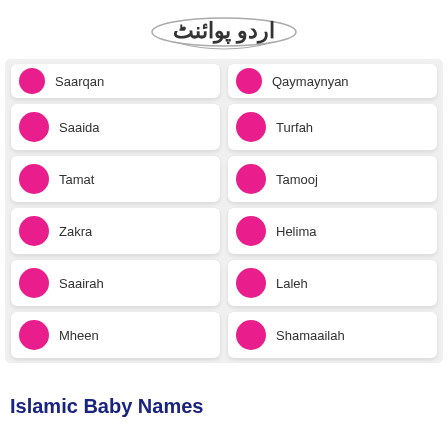urdupointnet logo
Saarqan
Qaymaynyan
Saaida
Turfah
Tamat
Tamooj
Zakra
Helima
Saairah
Laleh
Mheen
Shamaailah
Islamic Baby Names